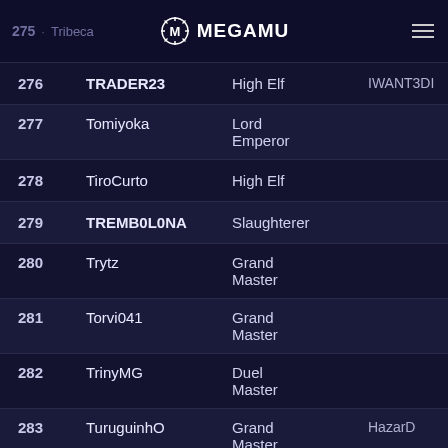275 · Tribeca   MEGAMU   Grand Master   ≡
| # | Name | Class | Guild | Level |
| --- | --- | --- | --- | --- |
| 276 | TRADER23 | High Elf | IWANT3DI | 363+ |
| 277 | Tomiyoka | Lord Emperor |  | 285+ |
| 278 | TiroCurto | High Elf |  | 341+ |
| 279 | TREMB0L0NA | Slaughterer |  | 400+ |
| 280 | Trytz | Grand Master |  | 374+ |
| 281 | Torvi041 | Grand Master |  | 365+ |
| 282 | TrinyMG | Duel Master |  | 229+ |
| 283 | TuruguinhO | Grand Master | HazarD | 183+ |